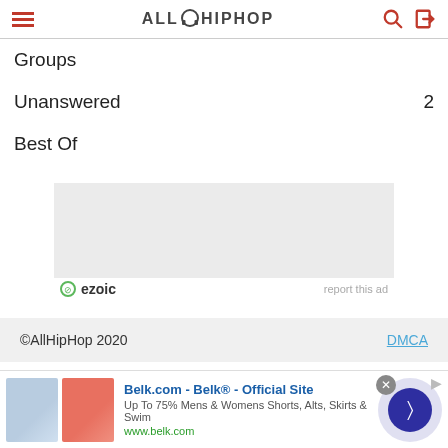AllHipHop
Groups
Unanswered  2
Best Of
[Figure (other): Ezoic advertisement placeholder grey box with ezoic logo and 'report this ad' link]
©AllHipHop 2020   DMCA
[Figure (other): Bottom banner ad: Belk.com - Belk® - Official Site, Up To 75% Mens & Womens Shorts, Alts, Skirts & Swim, www.belk.com]